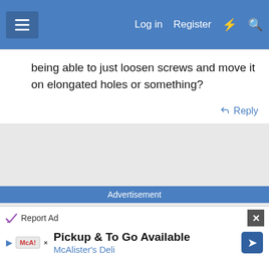Log in  Register
being able to just loosen screws and move it on elongated holes or something?
Reply
Advertisement
[Figure (other): Empty advertisement placeholder area with light gray background]
Report Ad
Pickup & To Go Available
McAlister's Deli